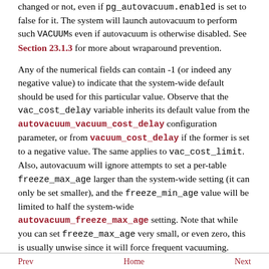changed or not, even if pg_autovacuum.enabled is set to false for it. The system will launch autovacuum to perform such VACUUMs even if autovacuum is otherwise disabled. See Section 23.1.3 for more about wraparound prevention.
Any of the numerical fields can contain -1 (or indeed any negative value) to indicate that the system-wide default should be used for this particular value. Observe that the vac_cost_delay variable inherits its default value from the autovacuum_vacuum_cost_delay configuration parameter, or from vacuum_cost_delay if the former is set to a negative value. The same applies to vac_cost_limit. Also, autovacuum will ignore attempts to set a per-table freeze_max_age larger than the system-wide setting (it can only be set smaller), and the freeze_min_age value will be limited to half the system-wide autovacuum_freeze_max_age setting. Note that while you can set freeze_max_age very small, or even zero, this is usually unwise since it will force frequent vacuuming.
Prev    Home    Next